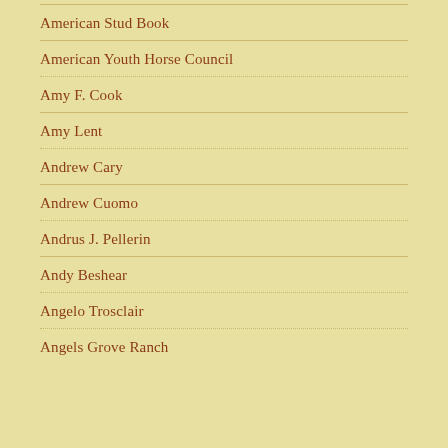American Stud Book
American Youth Horse Council
Amy F. Cook
Amy Lent
Andrew Cary
Andrew Cuomo
Andrus J. Pellerin
Andy Beshear
Angelo Trosclair
Angels Grove Ranch